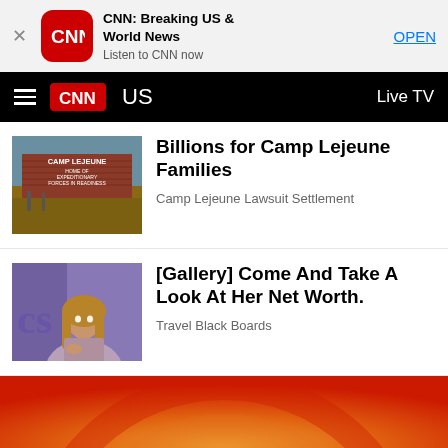[Figure (screenshot): App banner: CNN Breaking US & World News app with red CNN icon, OPEN button]
[Figure (screenshot): CNN navigation bar with hamburger menu, CNN logo, US section label, Live TV link]
[Figure (photo): Camp Lejeune sign photo thumbnail]
Billions for Camp Lejeune Families
Camp Lejeune Lawsuit Settlement
[Figure (photo): Wendy Williams on TV show set thumbnail]
[Gallery] Come And Take A Look At Her Net Worth.
Travel Black Boards
[Figure (photo): Partial red/orange circular image at bottom]